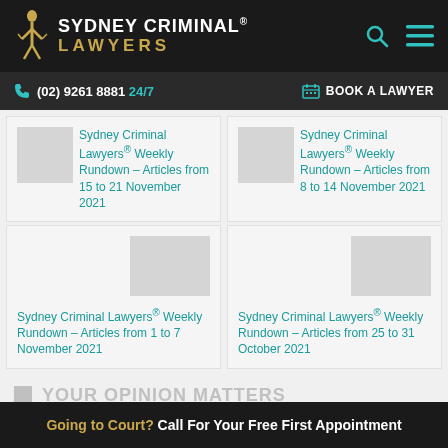[Figure (logo): Sydney Criminal Lawyers logo with golden figure and text]
(02) 9261 8881 24/7   BOOK A LAWYER
Sydney Criminal Lawyers® Weekly Rundown – Articles from 15 to 21 November 2021
Sydney Criminal Lawyers® Weekly Rundown – Articles from 8 to 14 November 2021
Sydney Criminal Lawyers® Weekly Rundown – Articles from 1 to 7 November 2021
Sydney Criminal Lawyers® Weekly Rundown – Articles from 25 to 31 October 2021
YOUR OPINION MATTERS
Going to Court? Call For Your Free First Appointment